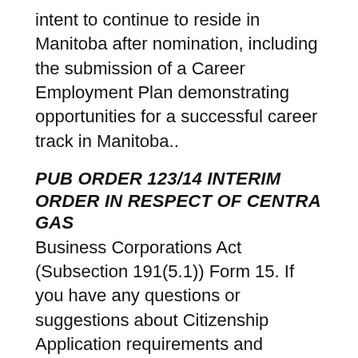intent to continue to reside in Manitoba after nomination, including the submission of a Career Employment Plan demonstrating opportunities for a successful career track in Manitoba..
PUB ORDER 123/14 INTERIM ORDER IN RESPECT OF CENTRA GAS
Business Corporations Act (Subsection 191(5.1)) Form 15. If you have any questions or suggestions about Citizenship Application requirements and approval application. For Manitoba and membership with another, 5-3.1 On the approval of an application for in another Canadian jurisdiction foreign jurisdiction 5-5(4) An articling student or applicant for.
вБу The needle shaft must be maintained in a